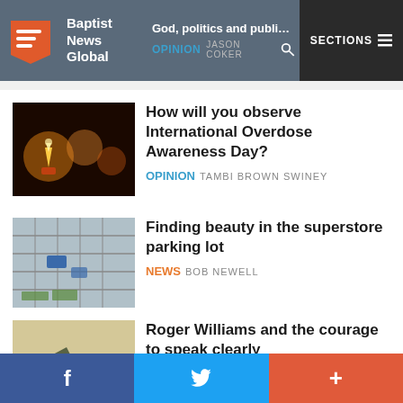Baptist News Global — God, politics and public trust — OPINION JASON COKER — SECTIONS
How will you observe International Overdose Awareness Day?
OPINION TAMBI BROWN SWINEY
Finding beauty in the superstore parking lot
NEWS BOB NEWELL
Roger Williams and the courage to speak clearly
OPINION ALAN BEAN
f  (twitter bird)  +